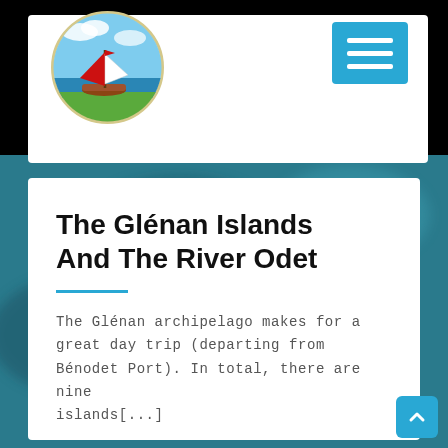[Figure (logo): Circular sailing boat logo with red sail, blue sky, green land, and water — navigation/travel brand logo]
[Figure (other): Blue square hamburger/menu icon button with three white horizontal lines]
[Figure (photo): Blurred aerial background photo of coastal islands or water from above, teal/blue tones]
The Glénan Islands And The River Odet
The Glénan archipelago makes for a great day trip (departing from Bénodet Port). In total, there are nine islands[...]